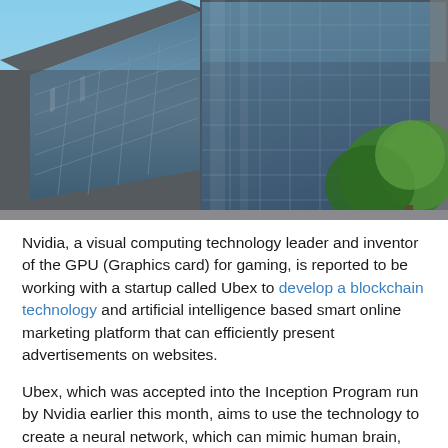[Figure (photo): Exterior photo of a modern multi-story corporate building with large glass windows and angular architectural design, with a green tree visible in the right foreground and blue sky in the background.]
Nvidia, a visual computing technology leader and inventor of the GPU (Graphics card) for gaming, is reported to be working with a startup called Ubex to develop a blockchain technology and artificial intelligence based smart online marketing platform that can efficiently present advertisements on websites.
Ubex, which was accepted into the Inception Program run by Nvidia earlier this month, aims to use the technology to create a neural network, which can mimic human brain, and improve the manner in which